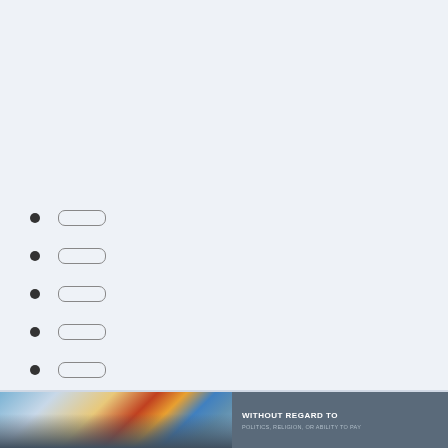[Figure (photo): Cargo aircraft being loaded with freight on airport tarmac, with colorful tail livery visible. Banner advertisement with text WITHOUT REGARD TO POLITICS, RELIGION, OR ABILITY TO PAY.]